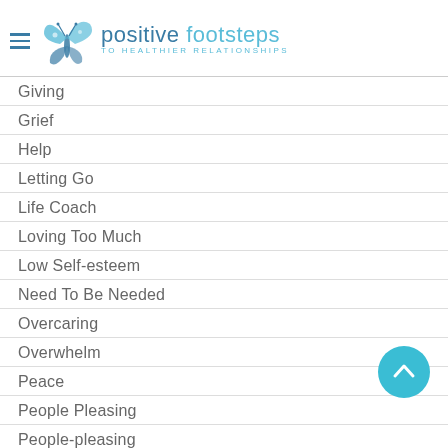[Figure (logo): Positive Footsteps to Healthier Relationships logo with butterfly icon and text]
Giving
Grief
Help
Letting Go
Life Coach
Loving Too Much
Low Self-esteem
Need To Be Needed
Overcaring
Overwhelm
Peace
People Pleasing
People-pleasing
Perfectionism
Recovery